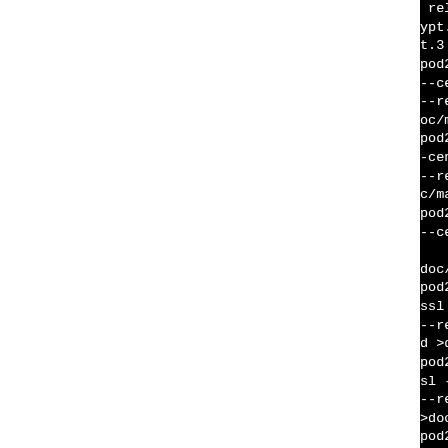[Figure (screenshot): Terminal/code window showing make commands for pod2man with OpenSSL documentation generation, black background with white monospace text. Left portion is white (blank). Right portion shows command lines for RSA_SIZE, SCT_NEW, SCT_PRINT, SCT_VALIDATE, SHA256_INIT, SMIME_READ entries.]